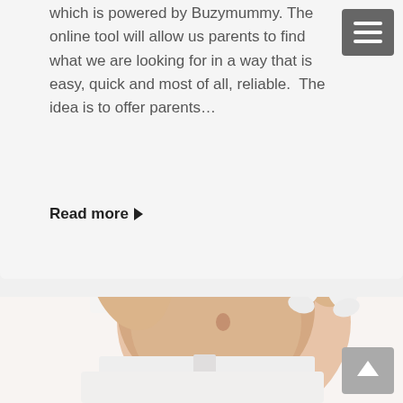which is powered by Buzymummy. The online tool will allow us parents to find what we are looking for in a way that is easy, quick and most of all, reliable.  The idea is to offer parents…
Read more ▸
[Figure (photo): A pregnant woman in white clothing holding up a white baby onesie/romper outfit against a white background]